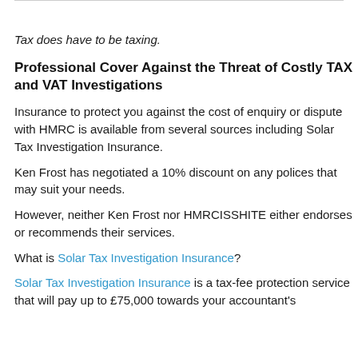Tax does have to be taxing.
Professional Cover Against the Threat of Costly TAX and VAT Investigations
Insurance to protect you against the cost of enquiry or dispute with HMRC is available from several sources including Solar Tax Investigation Insurance.
Ken Frost has negotiated a 10% discount on any polices that may suit your needs.
However, neither Ken Frost nor HMRCISSHITE either endorses or recommends their services.
What is Solar Tax Investigation Insurance?
Solar Tax Investigation Insurance is a tax-fee protection service that will pay up to £75,000 towards your accountant's